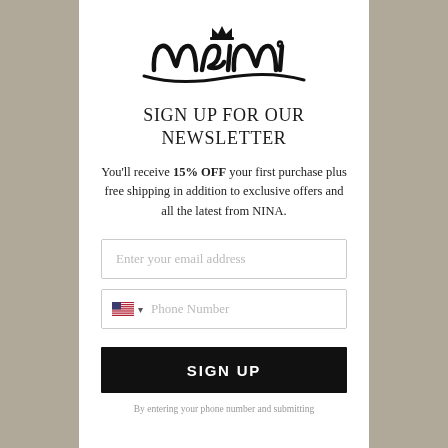[Figure (logo): Nina brand logo - stylized cursive script with a crown above the letter N]
SIGN UP FOR OUR NEWSLETTER
You'll receive 15% OFF your first purchase plus free shipping in addition to exclusive offers and all the latest from NINA.
Enter your email address
Phone Number
SIGN UP
By entering your phone number and submitting